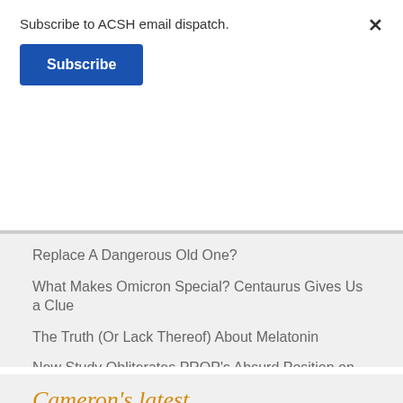Subscribe to ACSH email dispatch.
Subscribe
Replace A Dangerous Old One?
What Makes Omicron Special? Centaurus Gives Us a Clue
The Truth (Or Lack Thereof) About Melatonin
New Study Obliterates PROP's Absurd Position on Further Reducing Opioid Prescriptions
Metallurgical Irony: Tin Foil Hats Want You to Avoid Using Aluminum
More articles »
Cameron's latest